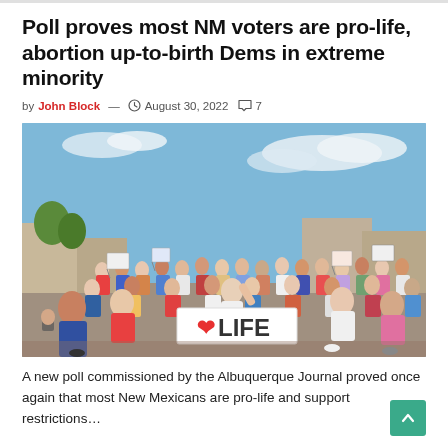Poll proves most NM voters are pro-life, abortion up-to-birth Dems in extreme minority
by John Block — August 30, 2022  7
[Figure (photo): A large outdoor crowd of people at a pro-life rally, many holding signs. A person in a white shirt holds up a banner reading 'LIFE' with a heart symbol. The scene is outdoors under a partly cloudy sky.]
A new poll commissioned by the Albuquerque Journal proved once again that most New Mexicans are pro-life and support restrictions…